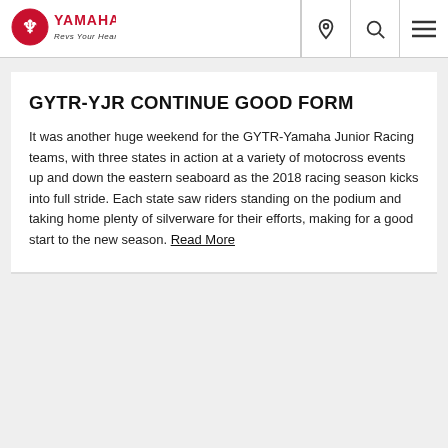YAMAHA Revs Your Heart — navigation header with location, search, and menu icons
GYTR-YJR CONTINUE GOOD FORM
It was another huge weekend for the GYTR-Yamaha Junior Racing teams, with three states in action at a variety of motocross events up and down the eastern seaboard as the 2018 racing season kicks into full stride. Each state saw riders standing on the podium and taking home plenty of silverware for their efforts, making for a good start to the new season. Read More